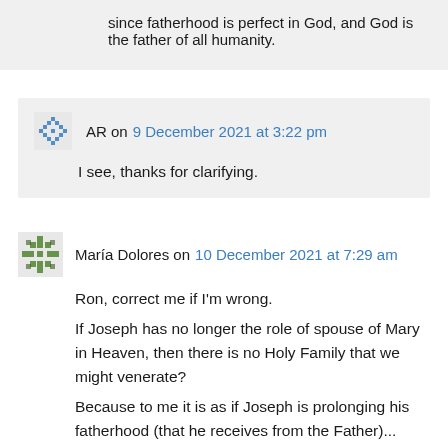since fatherhood is perfect in God, and God is the father of all humanity.
AR on 9 December 2021 at 3:22 pm
I see, thanks for clarifying.
María Dolores on 10 December 2021 at 7:29 am
Ron, correct me if I'm wrong. If Joseph has no longer the role of spouse of Mary in Heaven, then there is no Holy Family that we might venerate? Because to me it is as if Joseph is prolonging his fatherhood (that he receives from the Father)...